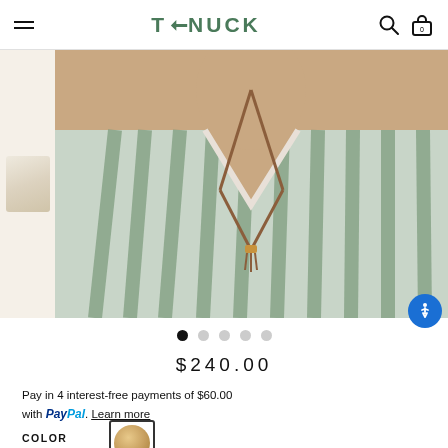T→NUCK
[Figure (photo): Close-up product photo of a striped sage green and white blouse with V-neckline and brown leather tassel necklace, shown on a model. Small thumbnail of a cream/beige item visible on the left sidebar.]
$240.00
Pay in 4 interest-free payments of $60.00 with PayPal. Learn more
COLOR  Natural Butterscotch